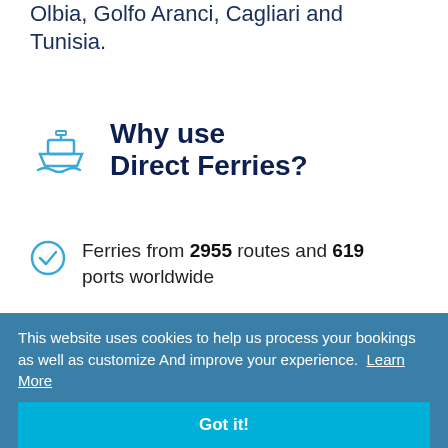Olbia, Golfo Aranci, Cagliari and Tunisia.
Why use Direct Ferries?
Ferries from 2955 routes and 619 ports worldwide
Trusted by over 2.5 million customers
This website uses cookies to help us process your bookings as well as customize And improve your experience. Learn More
Got it!